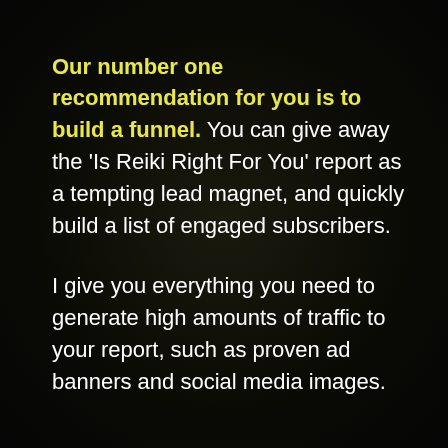Our number one recommendation for you is to build a funnel. You can give away the 'Is Reiki Right For You' report as a tempting lead magnet, and quickly build a list of engaged subscribers.
I give you everything you need to generate high amounts of traffic to your report, such as proven ad banners and social media images.